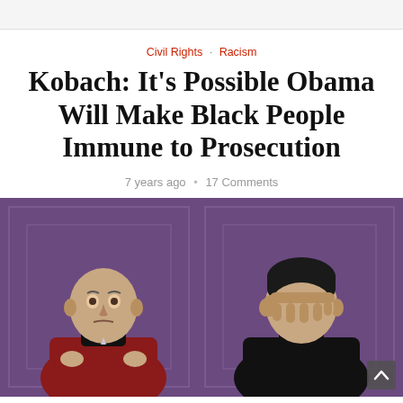Civil Rights · Racism
Kobach: It's Possible Obama Will Make Black People Immune to Prosecution
7 years ago • 17 Comments
[Figure (photo): Two men in Star Trek: The Next Generation uniforms seated against a purple paneled wall. Left figure sits with a stern expression; right figure covers his face with his hand in a 'facepalm' gesture.]